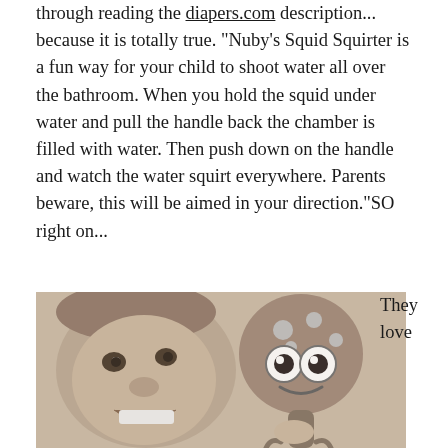through reading the diapers.com description... because it is totally true. "Nuby's Squid Squirter is a fun way for your child to shoot water all over the bathroom. When you hold the squid under water and pull the handle back the chamber is filled with water. Then push down on the handle and watch the water squirt everywhere. Parents beware, this will be aimed in your direction."SO right on...
[Figure (photo): Black and white photo of a smiling young child holding up a Nuby Squid Squirter bath toy with cartoon eyes and a smile, in a bathroom setting.]
They love